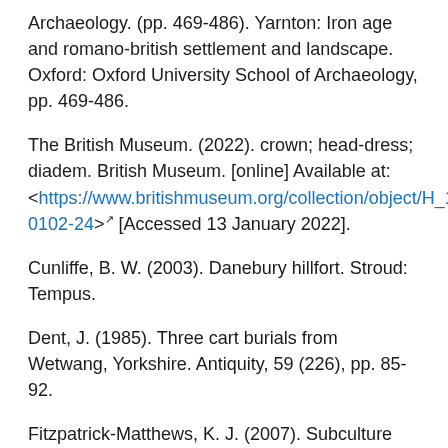Archaeology. (pp. 469-486). Yarnton: Iron age and romano-british settlement and landscape. Oxford: Oxford University School of Archaeology, pp. 469-486.
The British Museum. (2022). crown; head-dress; diadem. British Museum. [online] Available at: <https://www.britishmuseum.org/collection/object/H_1990-0102-24> [Accessed 13 January 2022].
Cunliffe, B. W. (2003). Danebury hillfort. Stroud: Tempus.
Dent, J. (1985). Three cart burials from Wetwang, Yorkshire. Antiquity, 59 (226), pp. 85-92.
Fitzpatrick-Matthews, K. J. (2007). Subculture and small group identity in Iron Age and Roman Baldock. In: Croxford, B., Ray, N., Roth, R., & White, N. (eds.).